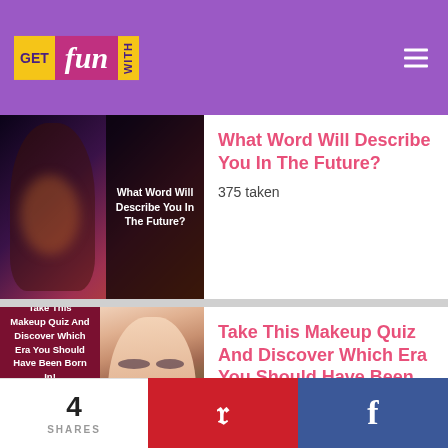[Figure (logo): Get Fun With logo with yellow GET block, pink cursive fun block, yellow WITH block on purple header background]
[Figure (photo): Thumbnail image for 'What Word Will Describe You In The Future?' quiz showing a woman holding lights with dark overlay text]
What Word Will Describe You In The Future?
375 taken
[Figure (photo): Thumbnail for makeup quiz showing dark red left panel with text and woman with dramatic makeup on right]
Take This Makeup Quiz And Discover Which Era You Should Have Been Born In!
595 taken
4
SHARES